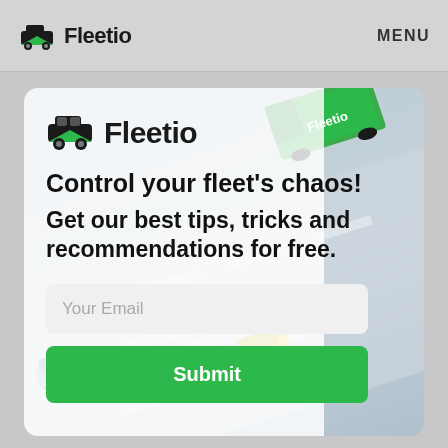Fleetio   MENU
[Figure (screenshot): Fleetio newsletter signup card with logo, headline text, email input field, and green Submit button, overlaid on a background showing toy/illustration vehicles on a road.]
Fleetio
Control your fleet's chaos!
Get our best tips, tricks and recommendations for free.
Your Email
Submit